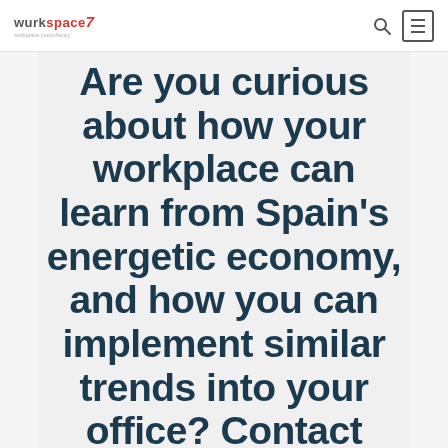wurkspace7
Are you curious about how your workplace can learn from Spain's energetic economy, and how you can implement similar trends into your office? Contact